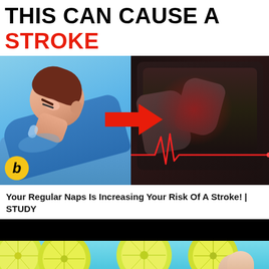THIS CAN CAUSE A STROKE
[Figure (illustration): Left side: cartoon illustration of a man sleeping/napping face-down on a pillow in blue clothing, with a yellow circle 'b' badge logo in bottom-left corner. Right side: dark photograph of a person clutching their chest with a red ECG/heartbeat line overlay and a large red arrow pointing from left image to right image.]
Your Regular Naps Is Increasing Your Risk Of A Stroke! | STUDY
[Figure (photo): Image showing lemon/lime slices in blue water with a person's finger visible at the right edge. A black bar covers the top portion. A grey scroll-up button is visible at the bottom right.]